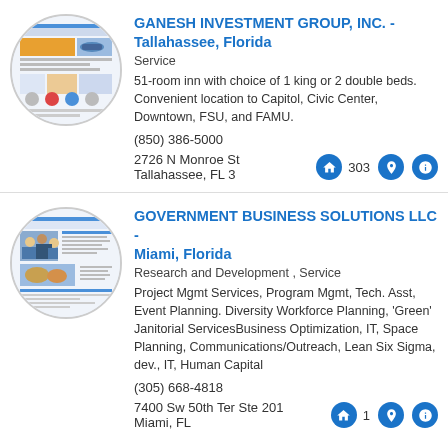[Figure (logo): Circular logo for Ganesh Investment Group, Inc. showing a website screenshot]
GANESH INVESTMENT GROUP, INC. - Tallahassee, Florida
Service
51-room inn with choice of 1 king or 2 double beds. Convenient location to Capitol, Civic Center, Downtown, FSU, and FAMU.
(850) 386-5000
2726 N Monroe St Tallahassee, FL 32303
[Figure (logo): Circular logo for Government Business Solutions LLC showing a website screenshot]
GOVERNMENT BUSINESS SOLUTIONS LLC - Miami, Florida
Research and Development , Service
Project Mgmt Services, Program Mgmt, Tech. Asst, Event Planning. Diversity Workforce Planning, 'Green' Janitorial ServicesBusiness Optimization, IT, Space Planning, Communications/Outreach, Lean Six Sigma, dev., IT, Human Capital
(305) 668-4818
7400 Sw 50th Ter Ste 201 Miami, FL 33155